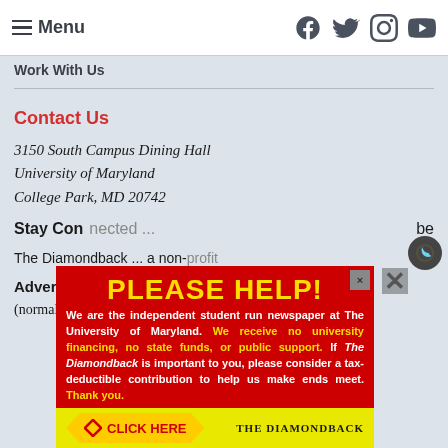Menu | Facebook Twitter Instagram YouTube
Work With Us
Contact Us
3150 South Campus Dining Hall
University of Maryland
College Park, MD 20742
Newsroom: 301-314-8200
(4:30 p.m. to midnight, Sundays through Thursdays)
Advertising: 301-276-5770
(normal business hours, Mondays through Fridays)
Stay Connected ... be
The Diamondback ... a non-profit
[Figure (other): Advertisement overlay: red background popup with PLEASE HELP! in yellow, text about The Diamondback being independent student newspaper at University of Maryland, yellow highlighted text about no university financing, CLICK HERE button, and The Diamondback logo at bottom]